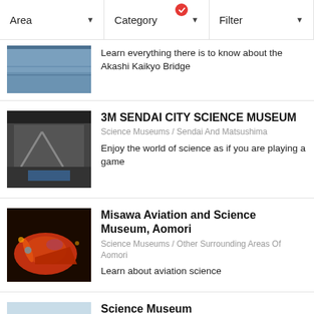[Figure (screenshot): Filter bar with Area, Category (with red badge/check), and Filter dropdown buttons]
Learn everything there is to know about the Akashi Kaikyo Bridge
3M SENDAI CITY SCIENCE MUSEUM
Science Museums / Sendai And Matsushima
Enjoy the world of science as if you are playing a game
Misawa Aviation and Science Museum, Aomori
Science Museums / Other Surrounding Areas Of Aomori
Learn about aviation science
Science Museum
Science Museums / Tokyo Station
The Science Museum allows people of all ages to see, touch, and experience science. A variety of workshops held every day are also appealing.